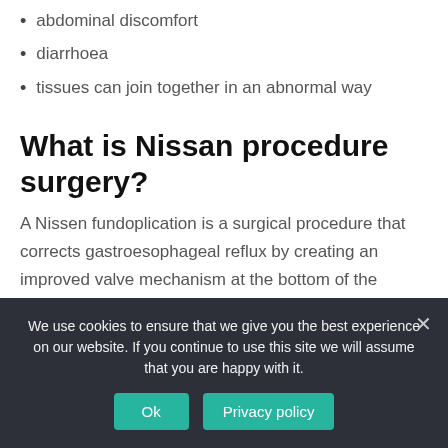abdominal discomfort
diarrhoea
tissues can join together in an abnormal way
What is Nissan procedure surgery?
A Nissen fundoplication is a surgical procedure that corrects gastroesophageal reflux by creating an improved valve mechanism at the bottom of the esophagus.
[Figure (infographic): Row of social media sharing buttons: Facebook, Google+, LinkedIn, Twitter, Pinterest, Email, and a plus button]
We use cookies to ensure that we give you the best experience on our website. If you continue to use this site we will assume that you are happy with it.